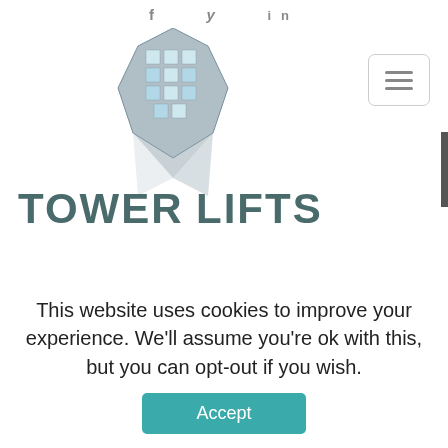f  y  in
[Figure (logo): Tower Lifts logo with a stylized silver/blue building icon and the text TOWER LIFTS in dark teal/grey capital letters]
Every one of our designers and installers has both engineering skills and years of experience to contribute when advising clients. Over the past two decades one of the most important things that we have learnt is that there is no such thing as a standard lift installation, as every operating environment is different. Even our dumb waiter lifts are adapted and modified therefore to
This website uses cookies to improve your experience. We'll assume you're ok with this, but you can opt-out if you wish.
Accept